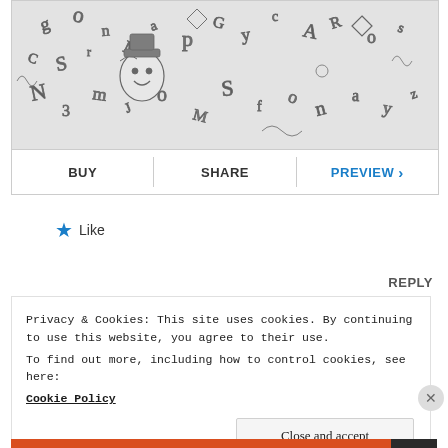[Figure (illustration): Black and white detailed doodle illustration with a cartoon character surrounded by swirling letters, numbers, and decorative elements]
BUY | SHARE | PREVIEW >
★ Like
REPLY
Privacy & Cookies: This site uses cookies. By continuing to use this website, you agree to their use.
To find out more, including how to control cookies, see here:
Cookie Policy
Close and accept